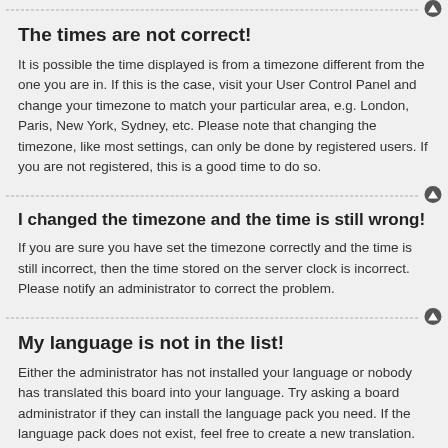The times are not correct!
It is possible the time displayed is from a timezone different from the one you are in. If this is the case, visit your User Control Panel and change your timezone to match your particular area, e.g. London, Paris, New York, Sydney, etc. Please note that changing the timezone, like most settings, can only be done by registered users. If you are not registered, this is a good time to do so.
I changed the timezone and the time is still wrong!
If you are sure you have set the timezone correctly and the time is still incorrect, then the time stored on the server clock is incorrect. Please notify an administrator to correct the problem.
My language is not in the list!
Either the administrator has not installed your language or nobody has translated this board into your language. Try asking a board administrator if they can install the language pack you need. If the language pack does not exist, feel free to create a new translation. More information can be found at the phpBB® website.